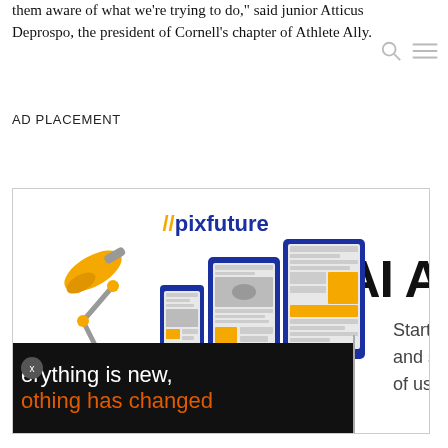them aware of what we're trying to do," said junior Atticus Deprospo, the president of Cornell's chapter of Athlete Ally.
AD PLACEMENT
[Figure (infographic): Advertisement banner featuring pixfuture branding with //pixfuture logo, a desk lamp illustration, device mockups (phone, tablet, monitor), partial 'AI A' large text on right, 'Start y... and sp... of use...' text, and a bottom black bar reading 'everything is new, nothing has changed']